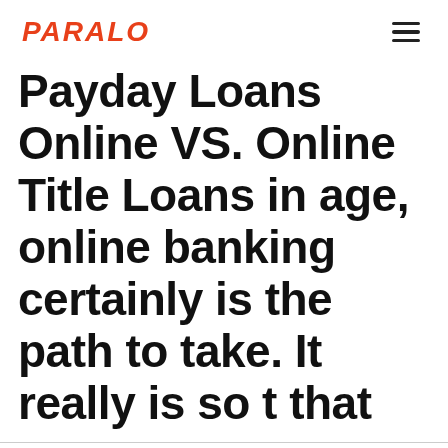PARALO
Payday Loans Online VS. Online Title Loans in age, online banking certainly is the path to take. It really is so t that
Wir verwenden Cookies.
Einstellungen   Akzeptieren